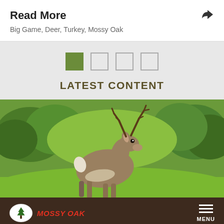Read More
Big Game,  Deer,  Turkey,  Mossy Oak
[Figure (infographic): Carousel pagination indicator: one filled green square followed by three empty outline squares]
LATEST CONTENT
[Figure (photo): A large white-tailed buck deer standing in a green meadow with trees in the background]
MOSSY OAK  MENU